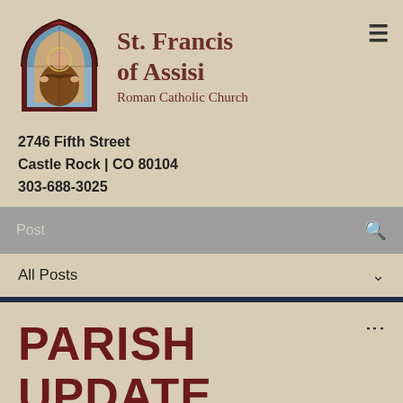[Figure (illustration): Stained glass window illustration of St. Francis of Assisi in a pointed arch frame with dark red/maroon border]
St. Francis of Assisi Roman Catholic Church
2746 Fifth Street
Castle Rock | CO 80104
303-688-3025
Post
All Posts
PARISH UPDATE